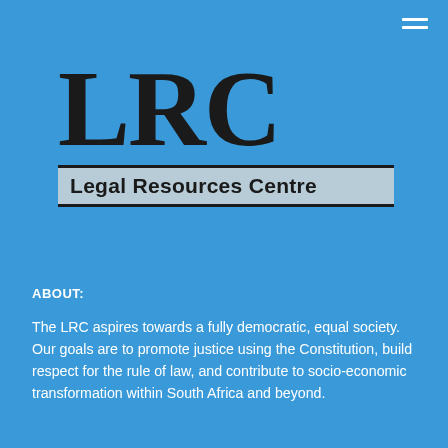[Figure (logo): LRC Legal Resources Centre logo with large bold LRC letters above a banner reading 'Legal Resources Centre' with horizontal rules above and below on a light grey-blue background strip]
ABOUT:
The LRC aspires towards a fully democratic, equal society. Our goals are to promote justice using the Constitution, build respect for the rule of law, and contribute to socio-economic transformation within South Africa and beyond.